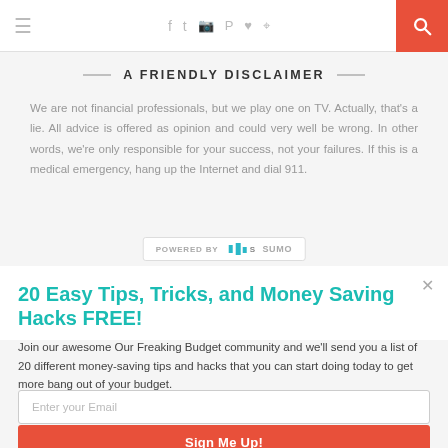≡  f  ✓  ⊕  ♥  ☛  🔍
A FRIENDLY DISCLAIMER
We are not financial professionals, but we play one on TV. Actually, that's a lie. All advice is offered as opinion and could very well be wrong. In other words, we're only responsible for your success, not your failures. If this is a medical emergency, hang up the Internet and dial 911.
20 Easy Tips, Tricks, and Money Saving Hacks FREE!
Join our awesome Our Freaking Budget community and we'll send you a list of 20 different money-saving tips and hacks that you can start doing today to get more bang out of your budget.
Enter your Email
Sign Me Up!